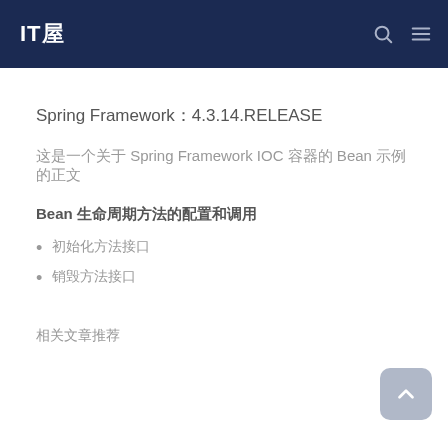IT屋
Spring Framework：4.3.14.RELEASE
这是一个关于 Spring Framework IOC 容器的 Bean 示例的正文
Bean 生命周期方法的配置和调用
初始化方法接口
销毁方法接口
相关文章推荐